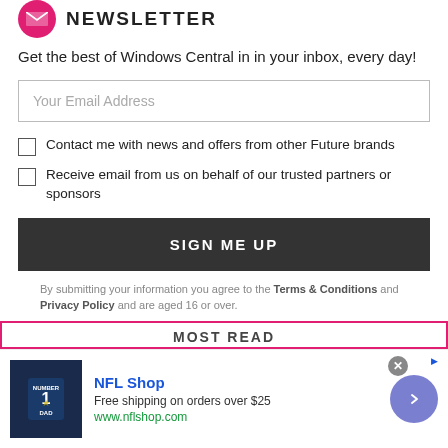[Figure (logo): Windows Central newsletter logo with pink circle and envelope icon]
NEWSLETTER
Get the best of Windows Central in in your inbox, every day!
Your Email Address
Contact me with news and offers from other Future brands
Receive email from us on behalf of our trusted partners or sponsors
SIGN ME UP
By submitting your information you agree to the Terms & Conditions and Privacy Policy and are aged 16 or over.
MOST READ
[Figure (photo): NFL Shop advertisement showing a Dallas Cowboys jersey. Text: NFL Shop, Free shipping on orders over $25, www.nflshop.com]